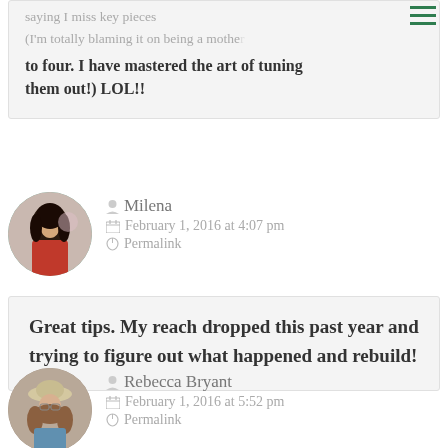saying I miss key pieces (I'm totally blaming it on being a mother to four. I have mastered the art of tuning them out!) LOL!!
Milena
February 1, 2016 at 4:07 pm
Permalink
Great tips. My reach dropped this past year and trying to figure out what happened and rebuild!
Rebecca Bryant
February 1, 2016 at 5:52 pm
Permalink